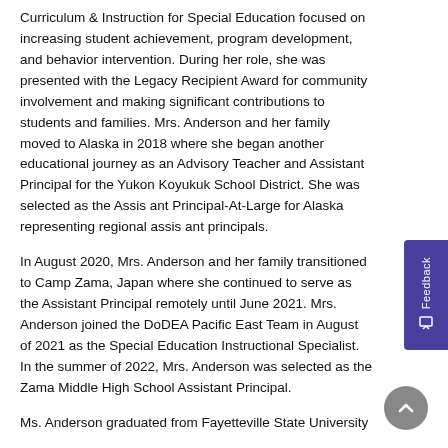Curriculum & Instruction for Special Education focused on increasing student achievement, program development, and behavior intervention. During her role, she was presented with the Legacy Recipient Award for community involvement and making significant contributions to students and families. Mrs. Anderson and her family moved to Alaska in 2018 where she began another educational journey as an Advisory Teacher and Assistant Principal for the Yukon Koyukuk School District. She was selected as the Assistant Principal-At-Large for Alaska representing regional assistant principals.
In August 2020, Mrs. Anderson and her family transitioned to Camp Zama, Japan where she continued to serve as the Assistant Principal remotely until June 2021. Mrs. Anderson joined the DoDEA Pacific East Team in August of 2021 as the Special Education Instructional Specialist. In the summer of 2022, Mrs. Anderson was selected as the Zama Middle High School Assistant Principal.
Ms. Anderson graduated from Fayetteville State University